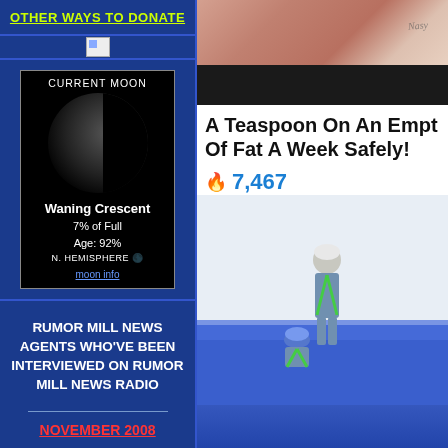OTHER WAYS TO DONATE
[Figure (photo): Broken image placeholder icon]
[Figure (infographic): Current Moon widget showing Waning Crescent, 7% of Full, Age: 92%, N. Hemisphere with moon info link]
RUMOR MILL NEWS AGENTS WHO'VE BEEN INTERVIEWED ON RUMOR MILL NEWS RADIO
NOVEMBER 2008
[Figure (photo): Top portion showing a person's midriff with a tattoo and dark waistband]
A Teaspoon On An Empt Of Fat A Week Safely!
🔥 7,467
[Figure (photo): Workers in safety harnesses and hard hats working on a blue tarp-covered surface]